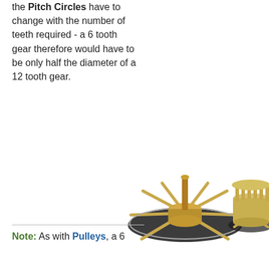the Pitch Circles have to change with the number of teeth required - a 6 tooth gear therefore would have to be only half the diameter of a 12 tooth gear.
[Figure (illustration): 3D rendered illustration of two wooden gear mechanisms with spoked wheels on a dark circular base plate, shown side by side.]
Note: As with Pulleys, a 6